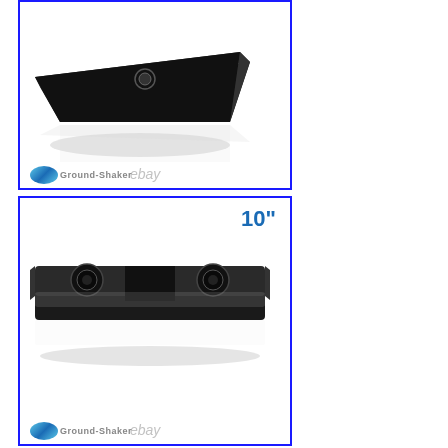[Figure (photo): Black wedge-shaped subwoofer speaker enclosure box, shown with reflection below, Ground-Shaker brand logo and eBay watermark in lower left corner]
[Figure (photo): 10-inch dual subwoofer flat/under-seat speaker enclosure box in black, shown with reflection below, '10"' label in blue top right, Ground-Shaker brand logo and eBay watermark in lower left corner]